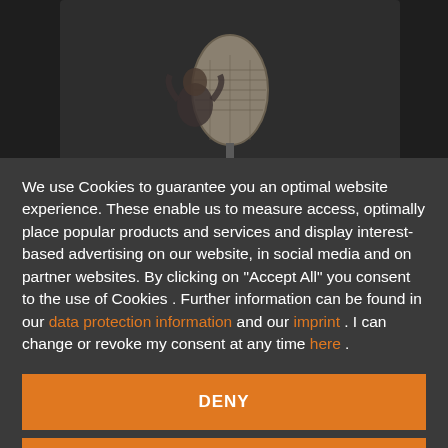[Figure (photo): Dark background image showing a vintage microphone with a figure/statue behind it, photographed against a dark background]
We use Cookies to guarantee you an optimal website experience. These enable us to measure access, optimally place popular products and services and display interest-based advertising on our website, in social media and on partner websites. By clicking on "Accept All" you consent to the use of Cookies . Further information can be found in our data protection information and our imprint . I can change or revoke my consent at any time here .
DENY
ACCEPT ALL
SETTINGS